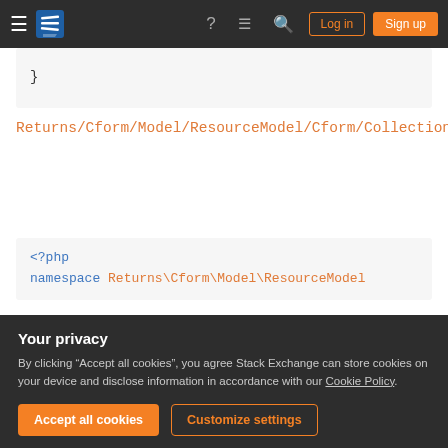Stack Exchange navigation bar with menu, logo, help, chat, search, Log in, Sign up
[Figure (screenshot): Code block showing closing brace '}']
Returns/Cform/Model/ResourceModel/Cform/Collection.php
[Figure (screenshot): PHP code block showing: <?php
namespace Returns\Cform\Model\ResourceModel]
Your privacy
By clicking "Accept all cookies", you agree Stack Exchange can store cookies on your device and disclose information in accordance with our Cookie Policy.
Accept all cookies
Customize settings
[Figure (screenshot): Bottom code snippet showing: * Define resource model]